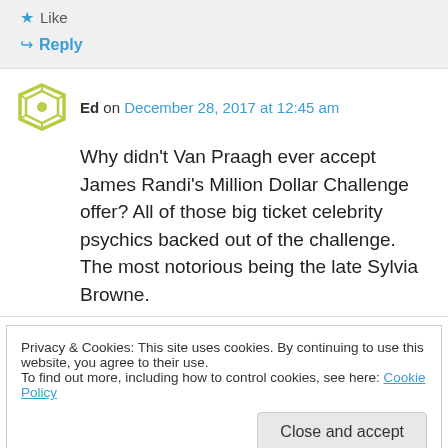★ Like
↪ Reply
Ed on December 28, 2017 at 12:45 am
Why didn't Van Praagh ever accept James Randi's Million Dollar Challenge offer? All of those big ticket celebrity psychics backed out of the challenge. The most notorious being the late Sylvia Browne.
Privacy & Cookies: This site uses cookies. By continuing to use this website, you agree to their use.
To find out more, including how to control cookies, see here: Cookie Policy
Close and accept
real deal